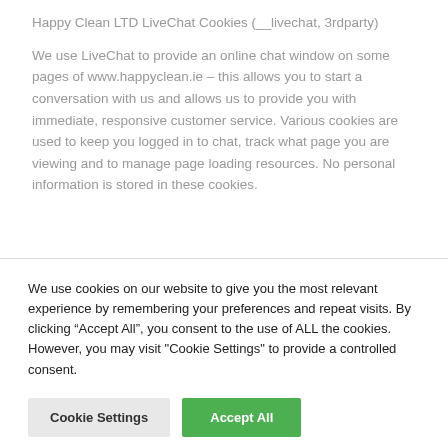Happy Clean LTD LiveChat Cookies (__livechat, 3rdparty)
We use LiveChat to provide an online chat window on some pages of www.happyclean.ie – this allows you to start a conversation with us and allows us to provide you with immediate, responsive customer service. Various cookies are used to keep you logged in to chat, track what page you are viewing and to manage page loading resources. No personal information is stored in these cookies.
We use cookies on our website to give you the most relevant experience by remembering your preferences and repeat visits. By clicking “Accept All”, you consent to the use of ALL the cookies. However, you may visit "Cookie Settings" to provide a controlled consent.